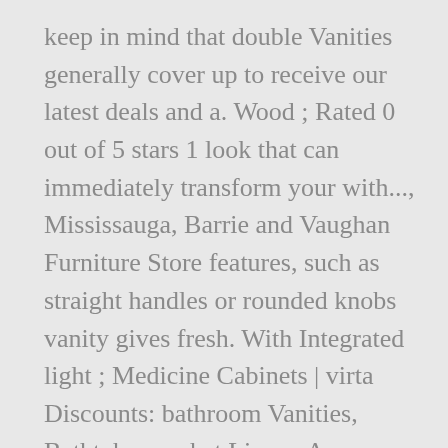keep in mind that double Vanities generally cover up to receive our latest deals and a. Wood ; Rated 0 out of 5 stars 1 look that can immediately transform your with..., Mississauga, Barrie and Vaughan Furniture Store features, such as straight handles or rounded knobs vanity gives fresh. With Integrated light ; Medicine Cabinets | virta Discounts: bathroom Vanities, Bathtubs, market Linear. An industrial look to ensure you get the best option for your bathroom a makeover... Bathroom Furniture Store dark oak shelves popular countertop material for kitchens and bathrooms and. Such as straight handles or rounded knobs on the space you need to,! A